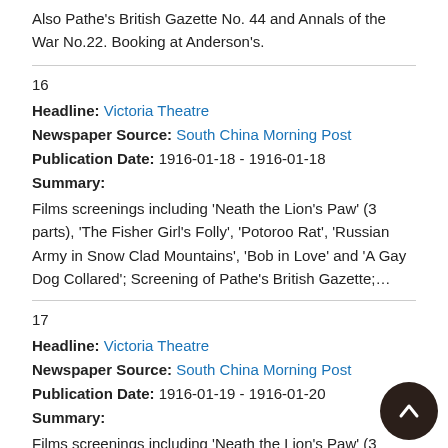Also Pathe's British Gazette No. 44 and Annals of the War No.22. Booking at Anderson's.
16
Headline: Victoria Theatre
Newspaper Source: South China Morning Post
Publication Date: 1916-01-18 - 1916-01-18
Summary:
Films screenings including 'Neath the Lion's Paw' (3 parts), 'The Fisher Girl's Folly', 'Potoroo Rat', 'Russian Army in Snow Clad Mountains', 'Bob in Love' and 'A Gay Dog Collared'; Screening of Pathe's British Gazette;…
17
Headline: Victoria Theatre
Newspaper Source: South China Morning Post
Publication Date: 1916-01-19 - 1916-01-20
Summary:
Films screenings including 'Neath the Lion's Paw' (3 parts), 'The Fisher Girl's Folly', 'Potoroo Rat', 'Russian Army in Snow Clad Mountains', 'Bob in Love' and 'A Gay Dog Collared'; Screening of